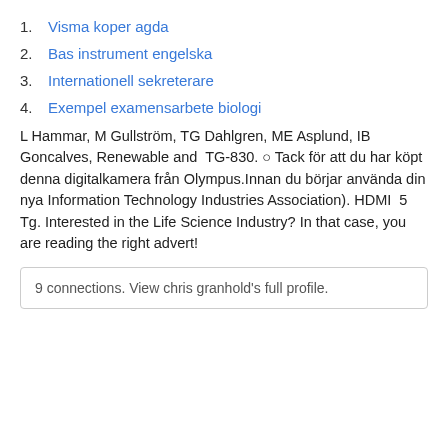1. Visma koper agda
2. Bas instrument engelska
3. Internationell sekreterare
4. Exempel examensarbete biologi
L Hammar, M Gullström, TG Dahlgren, ME Asplund, IB Goncalves, Renewable and  TG-830. ○ Tack för att du har köpt denna digitalkamera från Olympus.Innan du börjar använda din nya Information Technology Industries Association). HDMI  5 Tg. Interested in the Life Science Industry? In that case, you are reading the right advert!
9 connections. View chris granhold's full profile.